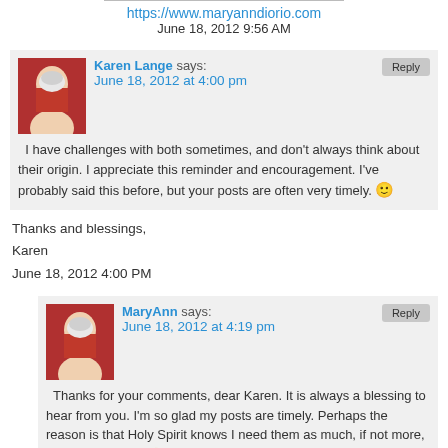https://www.maryanndiorio.com
June 18, 2012 9:56 AM
Karen Lange says:
June 18, 2012 at 4:00 pm
I have challenges with both sometimes, and don't always think about their origin. I appreciate this reminder and encouragement. I've probably said this before, but your posts are often very timely. 🙂
Thanks and blessings,
Karen
June 18, 2012 4:00 PM
MaryAnn says:
June 18, 2012 at 4:19 pm
Thanks for your comments, dear Karen. It is always a blessing to hear from you. I'm so glad my posts are timely. Perhaps the reason is that Holy Spirit knows I need them as much, if not more, than my readers. 🙂
Blessings!